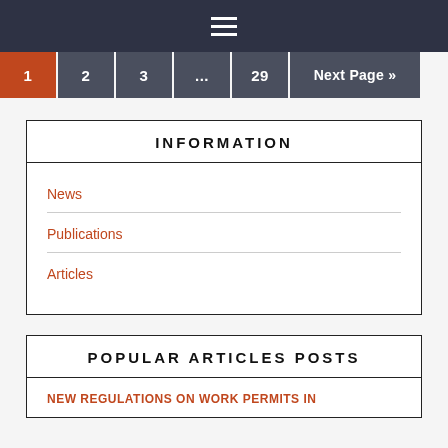☰ menu icon
1 (current page)
2
3
...
29
Next Page »
INFORMATION
News
Publications
Articles
POPULAR ARTICLES POSTS
NEW REGULATIONS ON WORK PERMITS IN